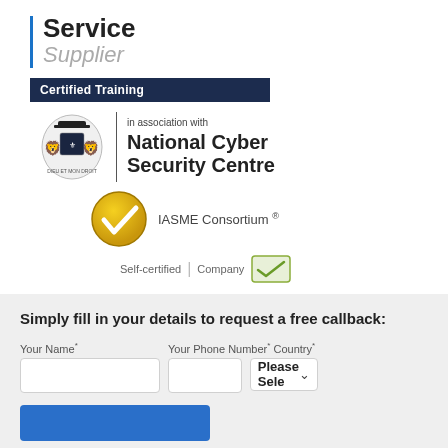[Figure (logo): Service Supplier logo with blue vertical bar, bold 'Service' text and italic grey 'Supplier' text]
Certified Training
[Figure (logo): UK Royal Coat of Arms with vertical divider and 'in association with National Cyber Security Centre' text]
[Figure (logo): IASME Consortium gold checkmark badge with registered trademark symbol]
[Figure (logo): Self-certified | Company Cyber Essentials badge]
Simply fill in your details to request a free callback:
Your Name* Your Phone Number* Country*
[Figure (other): Form with Name input, Phone Number input, Country dropdown (Please Select), and a blue submit button]